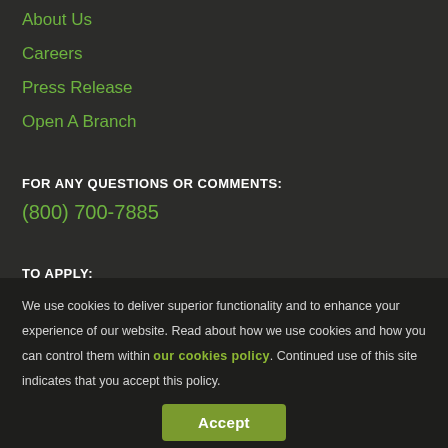About Us
Careers
Press Release
Open A Branch
FOR ANY QUESTIONS OR COMMENTS:
(800) 700-7885
TO APPLY:
(714) 417-9966
We use cookies to deliver superior functionality and to enhance your experience of our website. Read about how we use cookies and how you can control them within our cookies policy. Continued use of this site indicates that you accept this policy.